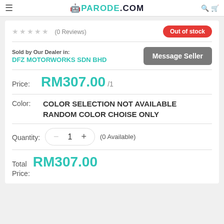PARODE.COM
★★★★★ (0 Reviews)
Out of stock
Sold by Our Dealer in: DFZ MOTORWORKS SDN BHD
Message Seller
Price: RM307.00 /1
Color: COLOR SELECTION NOT AVAILABLE RANDOM COLOR CHOISE ONLY
Quantity: 1 (0 Available)
Total Price: RM307.00